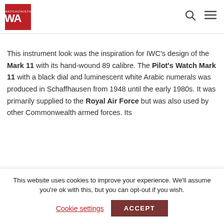WA logo with search and menu icons
This instrument look was the inspiration for IWC's design of the Mark 11 with its hand-wound 89 calibre. The Pilot's Watch Mark 11 with a black dial and luminescent white Arabic numerals was produced in Schaffhausen from 1948 until the early 1980s. It was primarily supplied to the Royal Air Force but was also used by other Commonwealth armed forces. Its
This website uses cookies to improve your experience. We'll assume you're ok with this, but you can opt-out if you wish. Cookie settings ACCEPT